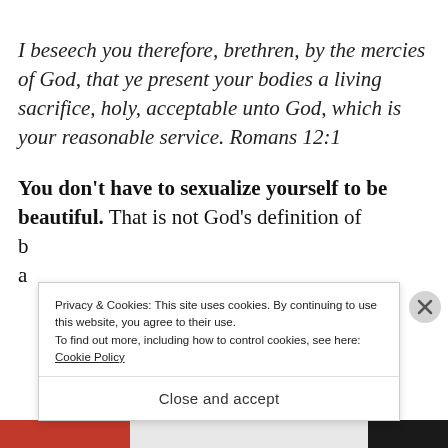I beseech you therefore, brethren, by the mercies of God, that ye present your bodies a living sacrifice, holy, acceptable unto God, which is your reasonable service. Romans 12:1
You don't have to sexualize yourself to be beautiful. That is not God's definition of b... a...
Privacy & Cookies: This site uses cookies. By continuing to use this website, you agree to their use.
To find out more, including how to control cookies, see here:
Cookie Policy
Close and accept